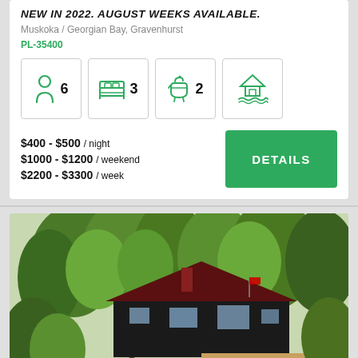NEW IN 2022. AUGUST WEEKS AVAILABLE.
Muskoka / Georgian Bay, Gravenhurst
PL-35400
[Figure (infographic): Four amenity icons in bordered boxes: person icon with number 6 (guests), bed icon with number 3 (bedrooms), bath icon with number 2 (bathrooms), and a waterfront house icon]
$400 - $500 / night
$1000 - $1200 / weekend
$2200 - $3300 / week
DETAILS
[Figure (photo): Exterior photo of a dark-colored cottage with a red roof surrounded by lush green trees, featuring a wooden deck with stairs. Two people are visible in the foreground near the water.]